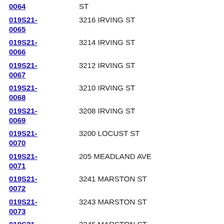019S21-0064 | ST
019S21-0065 | 3216 IRVING ST
019S21-0066 | 3214 IRVING ST
019S21-0067 | 3212 IRVING ST
019S21-0068 | 3210 IRVING ST
019S21-0069 | 3208 IRVING ST
019S21-0070 | 3200 LOCUST ST
019S21-0071 | 205 MEADLAND AVE
019S21-0072 | 3241 MARSTON ST
019S21-0073 | 3243 MARSTON ST
019S21-0074 | 3245 MARSTON ST